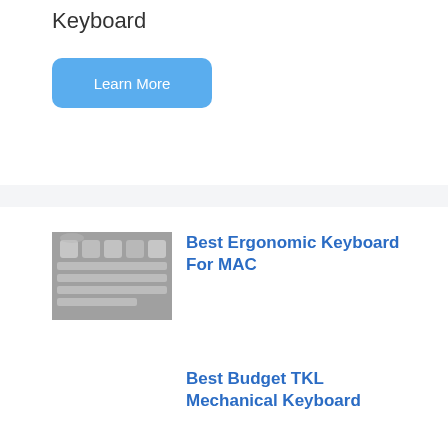Keyboard
Learn More
[Figure (photo): Thumbnail image of a keyboard, grayscale]
Best Ergonomic Keyboard For MAC
Best Budget TKL Mechanical Keyboard